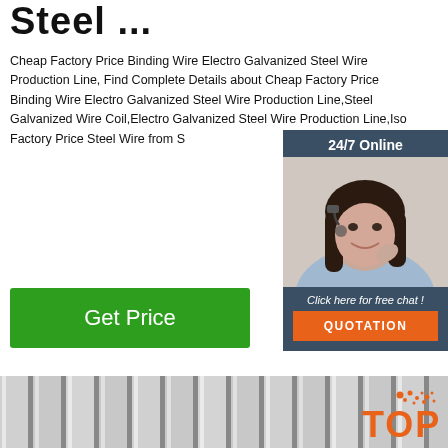Steel ...
Cheap Factory Price Binding Wire Electro Galvanized Steel Wire Production Line, Find Complete Details about Cheap Factory Price Binding Wire Electro Galvanized Steel Wire Production Line,Steel Galvanized Wire Coil,Electro Galvanized Steel Wire Production Line,Iso Factory Price Steel Wire from S
[Figure (other): Chat widget with '24/7 Online' header, agent photo of woman with headset, 'Click here for free chat!' text, and orange QUOTATION button]
[Figure (photo): Close-up photo of corrugated/ribbed galvanized steel wire or metal sheets in grayscale]
[Figure (logo): Orange TOP badge with dot pattern above text]